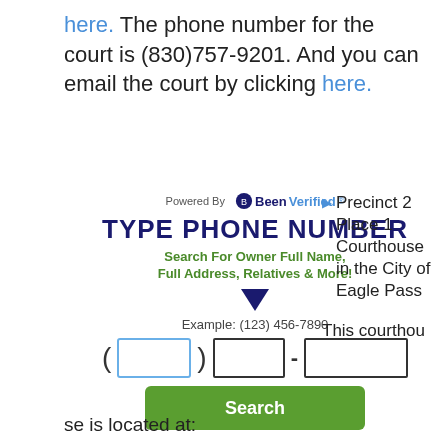here. The phone number for the court is (830)757-9201. And you can email the court by clicking here.
[Figure (screenshot): BeenVerified phone number search widget with TYPE PHONE NUMBER header, search description, phone number input fields (area code, prefix, suffix), and a green Search button]
Precinct 2 Place 1 Courthouse in the City of Eagle Pass
This courthouse is located at: